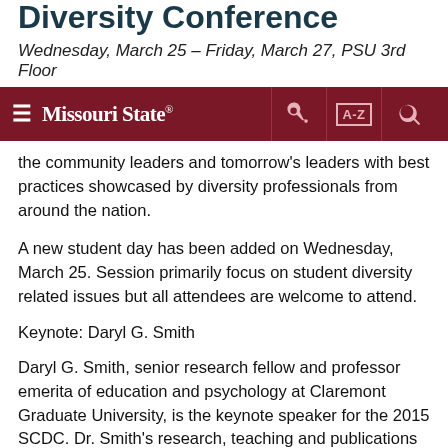Diversity Conference
Wednesday, March 25 – Friday, March 27, PSU 3rd Floor
[Figure (screenshot): Missouri State University navigation bar with hamburger menu, logo, key icon, A-Z index icon, and search icon on dark red background]
the community leaders and tomorrow's leaders with best practices showcased by diversity professionals from around the nation.
A new student day has been added on Wednesday, March 25. Session primarily focus on student diversity related issues but all attendees are welcome to attend.
Keynote: Daryl G. Smith
Daryl G. Smith, senior research fellow and professor emerita of education and psychology at Claremont Graduate University, is the keynote speaker for the 2015 SCDC. Dr. Smith's research, teaching and publications are in the areas of organizational implications of